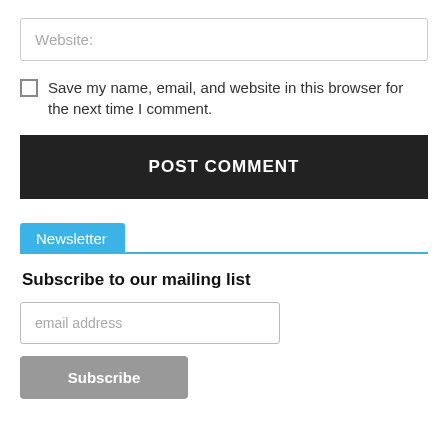Website:
Save my name, email, and website in this browser for the next time I comment.
POST COMMENT
Newsletter
Subscribe to our mailing list
email address
Subscribe